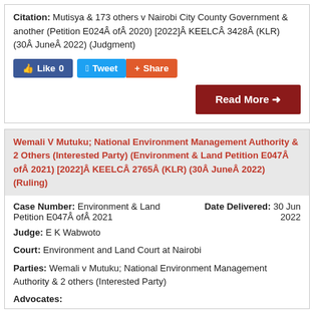Citation: Mutisya & 173 others v Nairobi City County Government & another (Petition E024Â ofÂ 2020) [2022]Â KEELCÂ 3428Â (KLR) (30Â JuneÂ 2022) (Judgment)
[Figure (other): Social sharing buttons: Like 0 (Facebook), Tweet (Twitter), Share (AddThis)]
Read More →
Wemali V Mutuku; National Environment Management Authority & 2 Others (Interested Party) (Environment & Land Petition E047Â ofÂ 2021) [2022]Â KEELCÂ 2765Â (KLR) (30Â JuneÂ 2022) (Ruling)
Case Number: Environment & Land Petition E047Â ofÂ 2021
Date Delivered: 30 Jun 2022
Judge: E K Wabwoto
Court: Environment and Land Court at Nairobi
Parties: Wemali v Mutuku; National Environment Management Authority & 2 others (Interested Party)
Advocates: